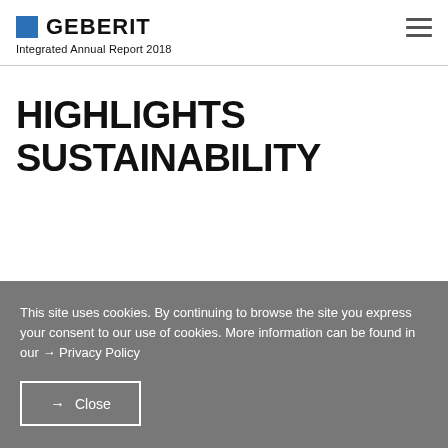GEBERIT — Integrated Annual Report 2018
HIGHLIGHTS SUSTAINABILITY
This site uses cookies. By continuing to browse the site you express your consent to our use of cookies. More information can be found in our → Privacy Policy
→ Close